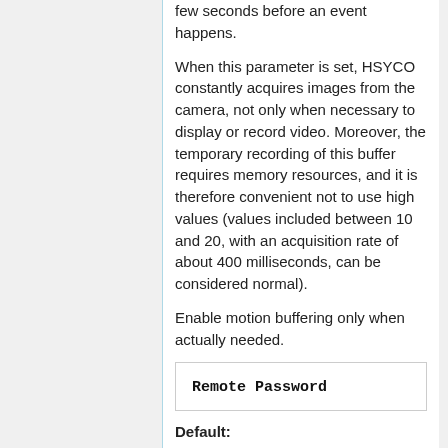few seconds before an event happens.
When this parameter is set, HSYCO constantly acquires images from the camera, not only when necessary to display or record video. Moreover, the temporary recording of this buffer requires memory resources, and it is therefore convenient not to use high values (values included between 10 and 20, with an acquisition rate of about 400 milliseconds, can be considered normal).
Enable motion buffering only when actually needed.
Remote Password
Default:
Format: string (letters and numbers)